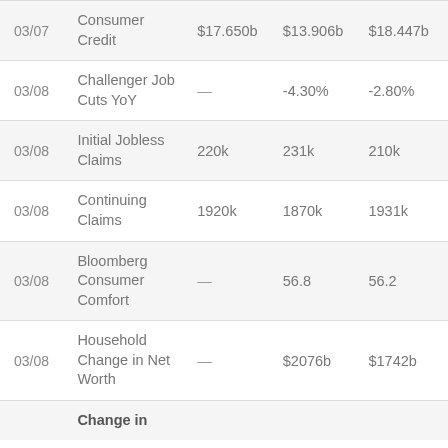| Date | Indicator | Forecast | Actual | Prior |
| --- | --- | --- | --- | --- |
| 03/07 | Consumer Credit | $17.650b | $13.906b | $18.447b |
| 03/08 | Challenger Job Cuts YoY | — | -4.30% | -2.80% |
| 03/08 | Initial Jobless Claims | 220k | 231k | 210k |
| 03/08 | Continuing Claims | 1920k | 1870k | 1931k |
| 03/08 | Bloomberg Consumer Comfort | — | 56.8 | 56.2 |
| 03/08 | Household Change in Net Worth | — | $2076b | $1742b |
|  | Change in |  |  |  |